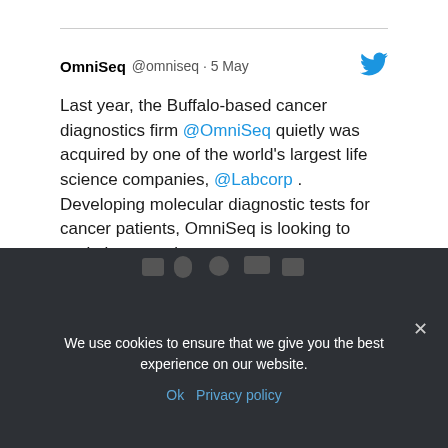OmniSeq @omniseq · 5 May
Last year, the Buffalo-based cancer diagnostics firm @OmniSeq quietly was acquired by one of the world's largest life science companies, @Labcorp . Developing molecular diagnostic tests for cancer patients, OmniSeq is looking to scale its operations. https://tinyurl.com/muxryphz
6  Twitter
Load More...
We use cookies to ensure that we give you the best experience on our website.
Ok  Privacy policy